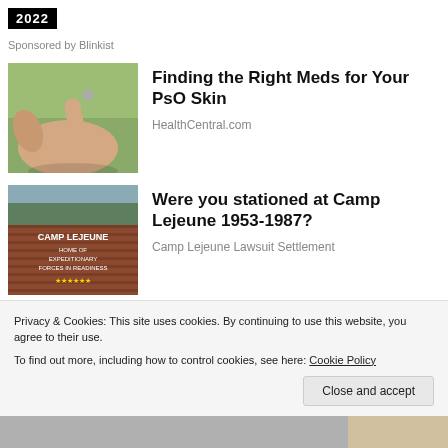[Figure (screenshot): Black box with '2022' text in white, bold font]
Sponsored by Blinkist
[Figure (photo): Hand holding a small object with green background, illustrating PsO skin medication]
Finding the Right Meds for Your PsO Skin
HealthCentral.com
[Figure (photo): Sign for Camp Lejeune: Home of Expeditionary Forces in Readiness, brick sign with trees]
Were you stationed at Camp Lejeune 1953-1987?
Camp Lejeune Lawsuit Settlement
Privacy & Cookies: This site uses cookies. By continuing to use this website, you agree to their use.
To find out more, including how to control cookies, see here: Cookie Policy
Close and accept